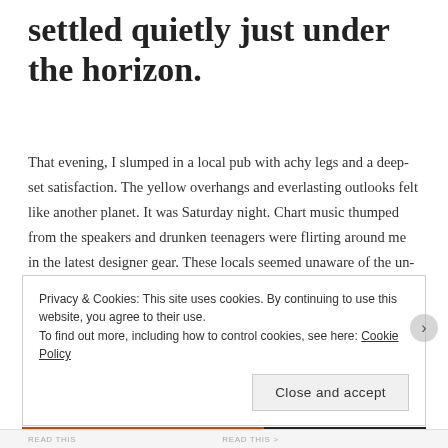settled quietly just under the horizon.
That evening, I slumped in a local pub with achy legs and a deep-set satisfaction. The yellow overhangs and everlasting outlooks felt like another planet. It was Saturday night. Chart music thumped from the speakers and drunken teenagers were flirting around me in the latest designer gear. These locals seemed unaware of the un-trodden paths that lay quite literally on their doorstep. I finished my pie and pint and decided I wasn't quite ready to return to the present just yet.
Privacy & Cookies: This site uses cookies. By continuing to use this website, you agree to their use.
To find out more, including how to control cookies, see here: Cookie Policy

Close and accept